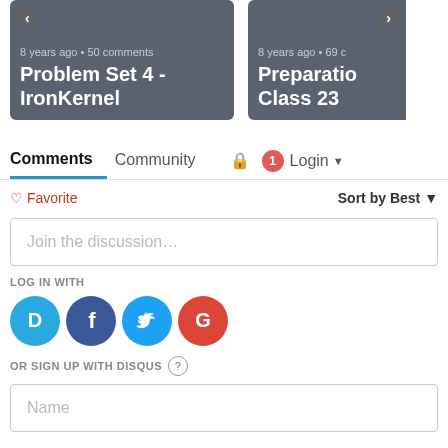[Figure (screenshot): Two navigation cards side by side: 'Problem Set 4 - IronKernel' (8 years ago, 50 comments) and 'Preparation Class 23' (8 years ago, 69 comments, partially cropped). Dark gray rounded backgrounds with white title text.]
Comments   Community   🔒   1   Login
♡ Favorite   Sort by Best ▾
Join the discussion…
LOG IN WITH
[Figure (logo): Four social login icons: Disqus (D, blue speech bubble), Facebook (f, dark blue circle), Twitter (bird, light blue circle), Google (G, red circle)]
OR SIGN UP WITH DISQUS ?
Name
email address